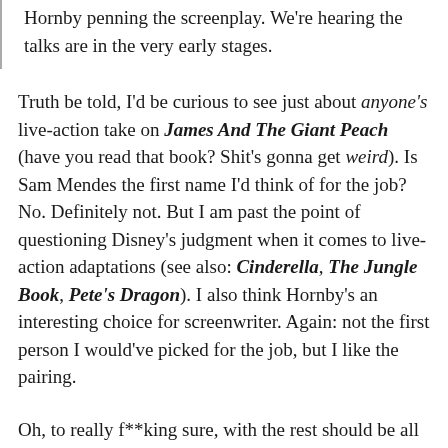Hornby penning the screenplay. We're hearing the talks are in the very early stages.
Truth be told, I'd be curious to see just about anyone's live-action take on James And The Giant Peach (have you read that book? Shit's gonna get weird). Is Sam Mendes the first name I'd think of for the job? No. Definitely not. But I am past the point of questioning Disney's judgment when it comes to live-action adaptations (see also: Cinderella, The Jungle Book, Pete's Dragon). I also think Hornby's an interesting choice for screenwriter. Again: not the first person I would've picked for the job, but I like the pairing.
Oh, but really, f**king sure, with the rest should be all...